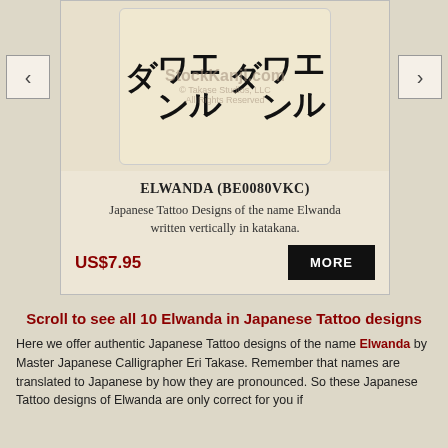[Figure (illustration): Japanese katakana characters for Elwanda written vertically in calligraphy style, shown on a textured beige paper background with StockKanji.com watermark and Takase Studios LLC copyright notice]
ELWANDA (BE0080VKC)
Japanese Tattoo Designs of the name Elwanda written vertically in katakana.
US$7.95
Scroll to see all 10 Elwanda in Japanese Tattoo designs
Here we offer authentic Japanese Tattoo designs of the name Elwanda by Master Japanese Calligrapher Eri Takase. Remember that names are translated to Japanese by how they are pronounced. So these Japanese Tattoo designs of Elwanda are only correct for you if